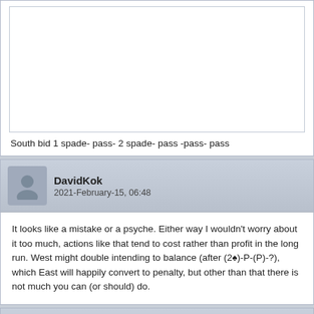[Figure (other): Empty white box area, top of post]
South bid 1 spade- pass- 2 spade- pass -pass- pass
DavidKok
2021-February-15, 06:48
It looks like a mistake or a psyche. Either way I wouldn't worry about it too much, actions like that tend to cost rather than profit in the long run. West might double intending to balance (after (2♠)-P-(P)-?), which East will happily convert to penalty, but other than that there is not much you can (or should) do.
Cyberyeti
2021-February-15, 07:08